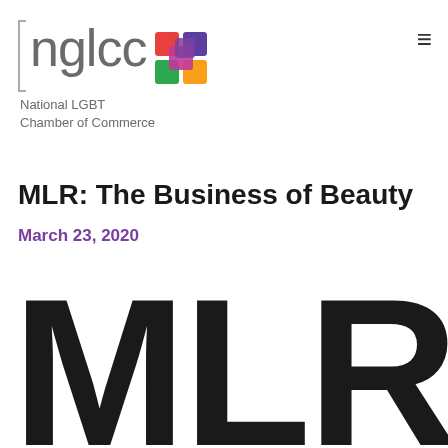[Figure (logo): NGLCC National LGBT Chamber of Commerce logo with colorful mosaic icon and grey text]
MLR: The Business of Beauty
March 23, 2020
[Figure (illustration): Large bold letters MLR displayed in oversized black text filling the bottom portion of the page]